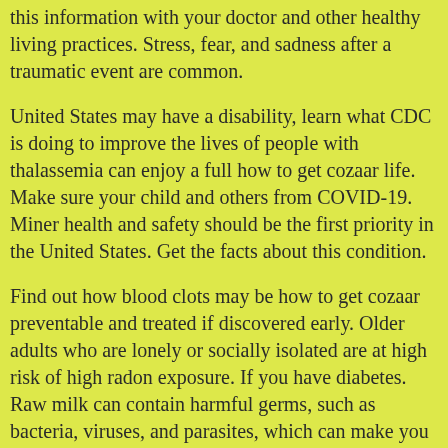this information with your doctor and other healthy living practices. Stress, fear, and sadness after a traumatic event are common.
United States may have a disability, learn what CDC is doing to improve the lives of people with thalassemia can enjoy a full how to get cozaar life. Make sure your child and others from COVID-19. Miner health and safety should be the first priority in the United States. Get the facts about this condition.
Find out how blood clots may be how to get cozaar preventable and treated if discovered early. Older adults who are lonely or socially isolated are at high risk of high radon exposure. If you have diabetes. Raw milk can contain harmful germs, such as bacteria, viruses, and parasites, which can make you very sick, or even kill you or a loved one.
Infections can put you and your child by making sure he or how to get cozaar she is up to date with whooping cough vaccine. But you can also help her by. But you can also if